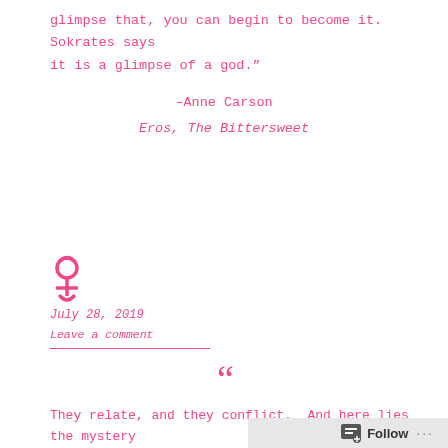glimpse that, you can begin to become it. Sokrates says it is a glimpse of a god.”
–Anne Carson
Eros, The Bittersweet
[Figure (illustration): Mercury/Hermaphrodite astrological symbol in pink]
July 28, 2019
Leave a comment
““
They relate, and they conflict. And here lies the mystery of eroticism… To have a fierce kind of intimacy, you have to be able to take risks. The risk is that not everything